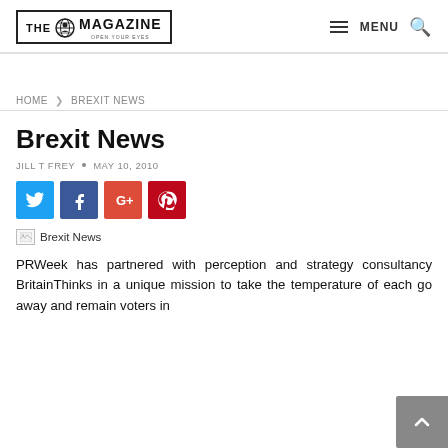THE MAGAZINE | MENU
HOME > BREXIT NEWS
Brexit News
JILL T FREY · MAY 10, 2010
[Figure (other): Social share buttons: Twitter, Facebook, Google+, Pinterest]
[Figure (other): Broken image placeholder: Brexit News]
PRWeek has partnered with perception and strategy consultancy BritainThinks in a unique mission to take the temperature of each go away and remain voters in